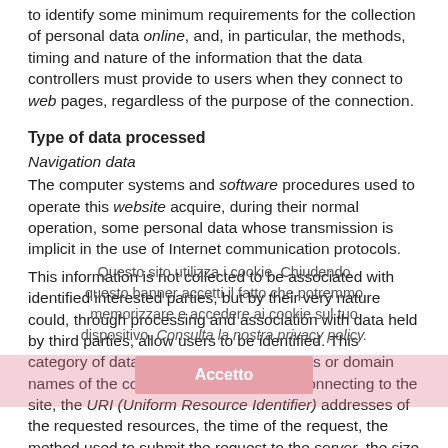to identify some minimum requirements for the collection of personal data online, and, in particular, the methods, timing and nature of the information that the data controllers must provide to users when they connect to web pages, regardless of the purpose of the connection.
Type of data processed
Navigation data
The computer systems and software procedures used to operate this website acquire, during their normal operation, some personal data whose transmission is implicit in the use of Internet communication protocols.
This information is not collected to be associated with identified interested parties, but by their very nature could, through processing and association with data held by third parties, allow users to be identified. This category of data includes the IP addresses or domain names of the computers used by users connecting to the site, the URI (Uniform Resource Identifier) addresses of the requested resources, the time of the request, the method used to submit the request to the server, the size of the file obtained in response, the numeric code indicating the status of the response given by the server (good purpose, error, etc.) and other parameters relating to the operating system and the user's IT environment.
Questo sito utilizza i cookie. Chiudendo questo banner accetti il fatto che potremmo memorizzare e accedere ai cookie sul tuo dispositivo. Consulta la nostra privacy policy.
Accetto